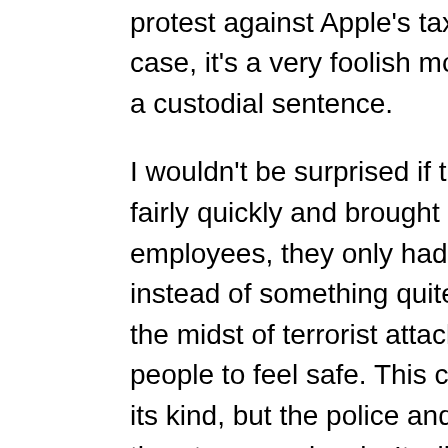and their motives. Perhaps they just wanted to cause a scene or protest against Apple's tax avoidance schemes. Whatever the case, it's a very foolish move and once traced, could end up with a custodial sentence.
I wouldn't be surprised if the person in question is apprehended fairly quickly and brought in for questioning. At least for the employees, they only had to deal with a small inconvenience instead of something quite sinister. The world is on high alert in the midst of terrorist attacks and stupid pranks like this don't help people to feel safe. This certainly isn't going to be the last hoax of its kind, but the police and security services have to take each threat very seriously. It will be interesting to see if Apple changes their approach with taxation as more pressure is applied from the media and consumers.
https://twitter.com/JoeLeogue/status/689040331090841600/photo/1? ref_src=twsrc%5Etfw
#Apple says threatening emails it received lead to the evacuation of its plants in #Cork. #securityalert